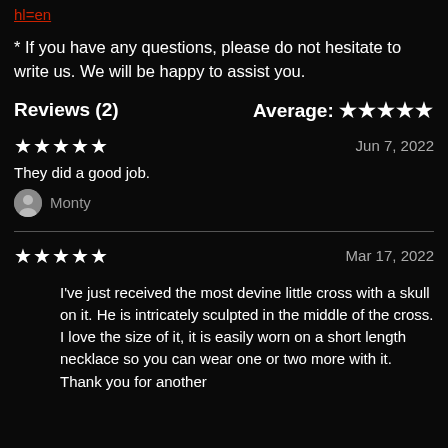hl=en
* If you have any questions, please do not hesitate to write us. We will be happy to assist you.
Reviews (2)    Average: ★★★★★
★★★★★    Jun 7, 2022
They did a good job.
Monty
★★★★★    Mar 17, 2022
I've just received the most devine little cross with a skull on it. He is intricately sculpted in the middle of the cross. I love the size of it, it is easily worn on a short length necklace so you can wear one or two more with it. Thank you for another